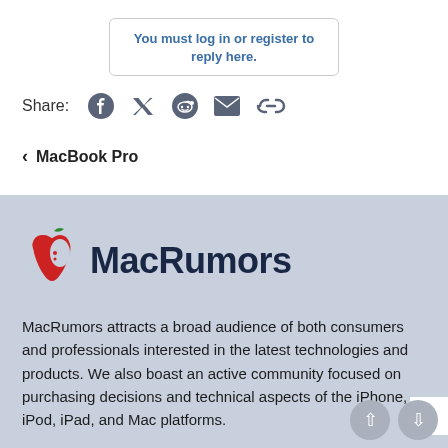You must log in or register to reply here.
Share:
< MacBook Pro
[Figure (logo): MacRumors logo with red apple icon and bold dark blue MacRumors text]
MacRumors attracts a broad audience of both consumers and professionals interested in the latest technologies and products. We also boast an active community focused on purchasing decisions and technical aspects of the iPhone, iPod, iPad, and Mac platforms.
Our Staff